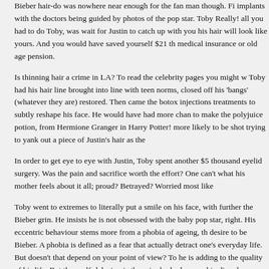Bieber hair-do was nowhere near enough for the fan man though. Fi implants with the doctors being guided by photos of the pop star. Toby Really! all you had to do Toby, was wait for Justin to catch up with you his hair will look like yours. And you would have saved yourself $21 th medical insurance or old age pension.
Is thinning hair a crime in LA? To read the celebrity pages you might w Toby had his hair line brought into line with teen norms, closed off his 'bangs' (whatever they are) restored. Then came the botox injections treatments to subtly reshape his face. He would have had more chan to make the polyjuice potion, from Hermione Granger in Harry Potter! more likely to be shot trying to yank out a piece of Justin's hair as the
In order to get eye to eye with Justin, Toby spent another $5 thousand eyelid surgery. Was the pain and sacrifice worth the effort? One can't what his mother feels about it all; proud? Betrayed? Worried most like
Toby went to extremes to literally put a smile on his face, with further the Bieber grin. He insists he is not obsessed with the baby pop star, right. His eccentric behaviour stems more from a phobia of ageing, th desire to be Bieber. A phobia is defined as a fear that actually detract one's everyday life. But doesn't that depend on your point of view? To he is adding to the quality of his life. But then self-delusion is the prim body dysmorphic disorder.
He certainly puts a lot of thought, time and expense into his Bieberiza smile is the key to looking youthful but his ambition has not yet been